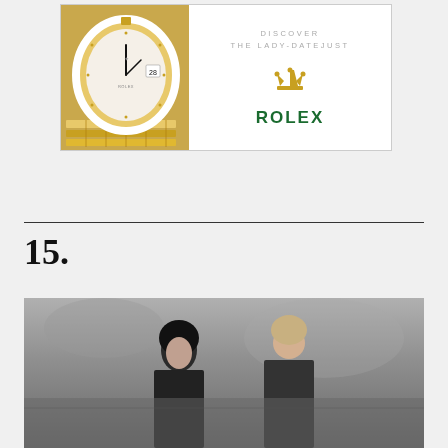[Figure (advertisement): Rolex Lady-Datejust advertisement showing a gold watch with diamond bezel and pearl dial on the left side, with text 'DISCOVER THE LADY-DATEJUST' and Rolex crown logo and name on white background]
15.
[Figure (photo): Black and white fashion photograph showing two women, one facing forward with dark hair and one with back turned, outdoor setting]